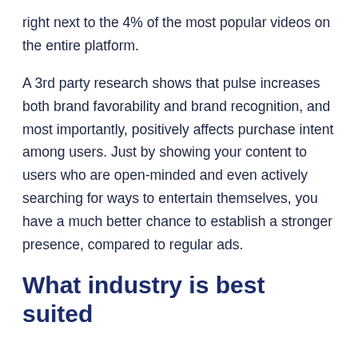right next to the 4% of the most popular videos on the entire platform.
A 3rd party research shows that pulse increases both brand favorability and brand recognition, and most importantly, positively affects purchase intent among users. Just by showing your content to users who are open-minded and even actively searching for ways to entertain themselves, you have a much better chance to establish a stronger presence, compared to regular ads.
What industry is best suited